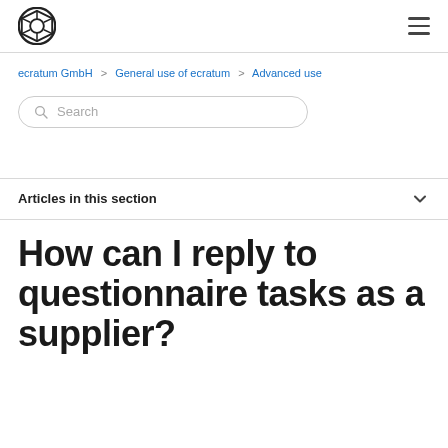ecratum GmbH logo and navigation menu
ecratum GmbH > General use of ecratum > Advanced use
Search
Articles in this section
How can I reply to questionnaire tasks as a supplier?